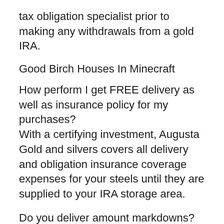tax obligation specialist prior to making any withdrawals from a gold IRA.
Good Birch Houses In Minecraft
How perform I get FREE delivery as well as insurance policy for my purchases?
With a certifying investment, Augusta Gold and silvers covers all delivery and obligation insurance coverage expenses for your steels until they are supplied to your IRA storage area.
Do you deliver amount markdowns?
Yes, on large orders. Talk To the Augusta Gold and silvers purchase desk for more information.